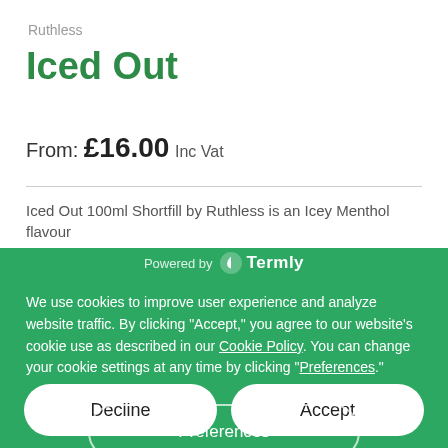Ruthless
Iced Out
From: £16.00 Inc Vat
Iced Out 100ml Shortfill by Ruthless is an Icey Menthol flavour
[Figure (screenshot): Cookie consent banner powered by Termly with Decline, Accept, and Preferences buttons on a green background]
We use cookies to improve user experience and analyze website traffic. By clicking "Accept," you agree to our website's cookie use as described in our Cookie Policy. You can change your cookie settings at any time by clicking "Preferences."